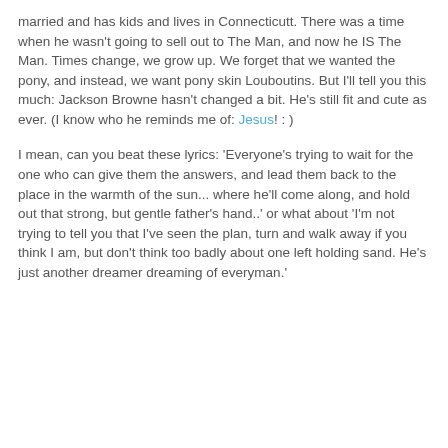married and has kids and lives in Connecticutt. There was a time when he wasn't going to sell out to The Man, and now he IS The Man. Times change, we grow up. We forget that we wanted the pony, and instead, we want pony skin Louboutins. But I'll tell you this much: Jackson Browne hasn't changed a bit. He's still fit and cute as ever. (I know who he reminds me of: Jesus! : )
I mean, can you beat these lyrics: 'Everyone's trying to wait for the one who can give them the answers, and lead them back to the place in the warmth of the sun... where he'll come along, and hold out that strong, but gentle father's hand..' or what about 'I'm not trying to tell you that I've seen the plan, turn and walk away if you think I am, but don't think too badly about one left holding sand. He's just another dreamer dreaming of everyman.'